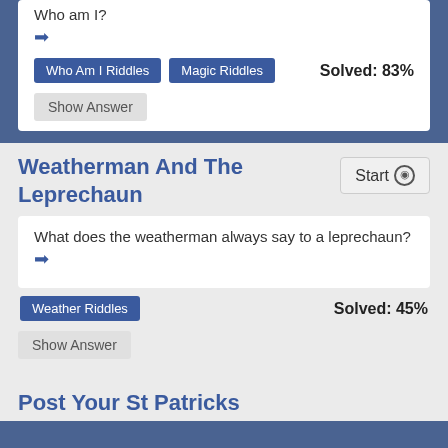Who am I?
Who Am I Riddles | Magic Riddles | Solved: 83%
Show Answer
Weatherman And The Leprechaun
Start
What does the weatherman always say to a leprechaun?
Weather Riddles | Solved: 45%
Show Answer
Post Your St Patricks